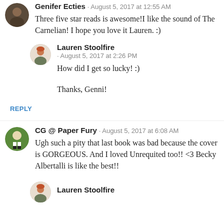[Figure (photo): Circular avatar of Genifer Ecties, partially visible at top left]
Genifer Ecties · August 5, 2017 at 12:55 AM
Three five star reads is awesome!I like the sound of The Carnelian! I hope you love it Lauren. :)
[Figure (photo): Circular avatar of Lauren Stoolfire, illustrated character with red hair]
Lauren Stoolfire · August 5, 2017 at 2:26 PM
How did I get so lucky! :)
Thanks, Genni!
REPLY
[Figure (photo): Circular avatar of CG @ Paper Fury, illustrated character with white and black legs]
CG @ Paper Fury · August 5, 2017 at 6:08 AM
Ugh such a pity that last book was bad because the cover is GORGEOUS. And I loved Unrequited too!! <3 Becky Albertalli is like the best!!
[Figure (photo): Circular avatar of Lauren Stoolfire, partially visible at bottom]
Lauren Stoolfire